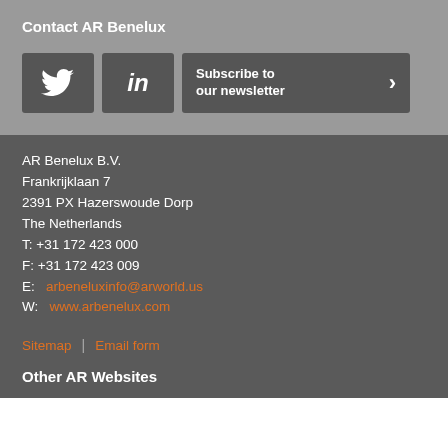Contact AR Benelux
[Figure (other): Social media buttons: Twitter icon, LinkedIn icon, and Subscribe to our newsletter button with arrow]
AR Benelux B.V.
FrankriJklaan 7
2391 PX Hazerswoude Dorp
The Netherlands
T: +31 172 423 000
F: +31 172 423 009
E: arbeneluxinfo@arworld.us
W: www.arbenelux.com
Sitemap
Email form
Other AR Websites